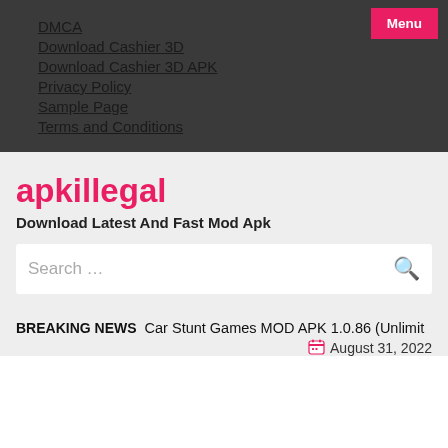Menu
DMCA
Download Cashier 3D
Download Cashier 3D APK
Privacy Policy
Sample Page
Terms and Conditions
apkillegal
Download Latest And Fast Mod Apk
Search …
BREAKING NEWS  Car Stunt Games MOD APK 1.0.86 (Unlimit
August 31, 2022